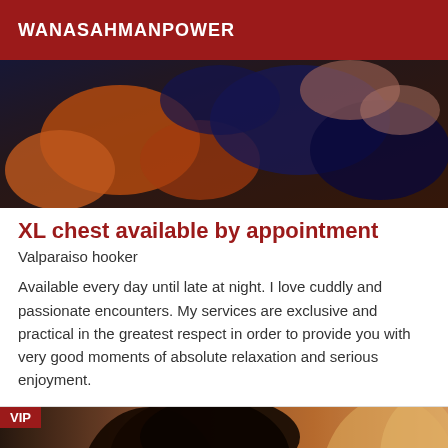WANASAHMANPOWER
[Figure (photo): Close-up photo of a person's torso wearing orange and blue patterned clothing]
XL chest available by appointment
Valparaiso hooker
Available every day until late at night. I love cuddly and passionate encounters. My services are exclusive and practical in the greatest respect in order to provide you with very good moments of absolute relaxation and serious enjoyment.
[Figure (photo): Close-up photo of a dark-haired person against a warm orange background, with VIP badge in top left corner]